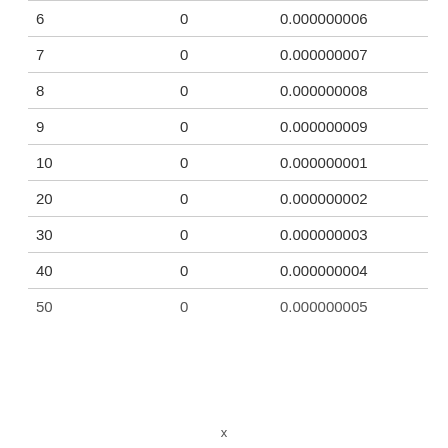| 6 | 0 | 0.000000006 |
| 7 | 0 | 0.000000007 |
| 8 | 0 | 0.000000008 |
| 9 | 0 | 0.000000009 |
| 10 | 0 | 0.000000001 |
| 20 | 0 | 0.000000002 |
| 30 | 0 | 0.000000003 |
| 40 | 0 | 0.000000004 |
| 50 | 0 | 0.000000005 |
x